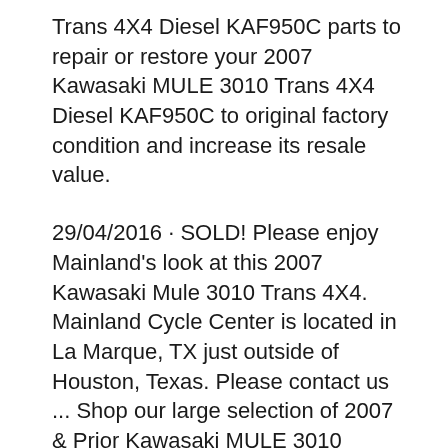Trans 4X4 Diesel KAF950C parts to repair or restore your 2007 Kawasaki MULE 3010 Trans 4X4 Diesel KAF950C to original factory condition and increase its resale value.
29/04/2016 · SOLD! Please enjoy Mainland's look at this 2007 Kawasaki Mule 3010 Trans 4X4. Mainland Cycle Center is located in La Marque, TX just outside of Houston, Texas. Please contact us ... Shop our large selection of 2007 & Prior Kawasaki MULE 3010 DIESEL 4X4 (KAF950B7F) OEM Parts, original equipment manufacturer parts and more online or call at (231)737-4542